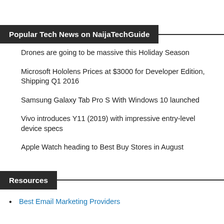Popular Tech News on NaijaTechGuide
Drones are going to be massive this Holiday Season
Microsoft Hololens Prices at $3000 for Developer Edition, Shipping Q1 2016
Samsung Galaxy Tab Pro S With Windows 10 launched
Vivo introduces Y11 (2019) with impressive entry-level device specs
Apple Watch heading to Best Buy Stores in August
Resources
Best Email Marketing Providers